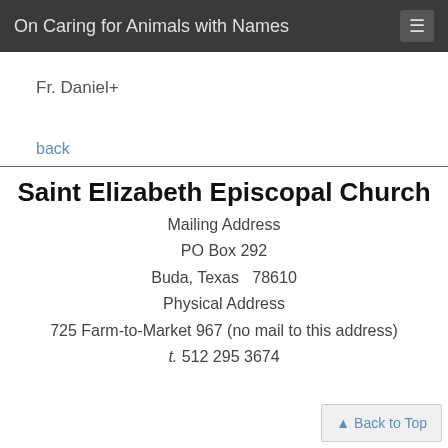On Caring for Animals with Names
Fr. Daniel+
back
Saint Elizabeth Episcopal Church
Mailing Address
PO Box 292
Buda, Texas  78610
Physical Address
725 Farm-to-Market 967 (no mail to this address)
t. 512 295 3674
Back to Top